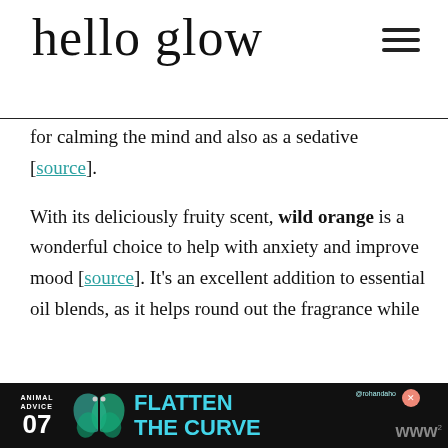[Figure (logo): Hello Glow cursive script logo in black with hamburger menu icon top right]
for calming the mind and also as a sedative [source].
With its deliciously fruity scent, wild orange is a wonderful choice to help with anxiety and improve mood [source]. It's an excellent addition to essential oil blends, as it helps round out the fragrance while
[Figure (screenshot): Advertisement banner: Animal Advice 07 - Flatten The Curve with butterfly graphic and @rohandahot handle, teal text on black background]